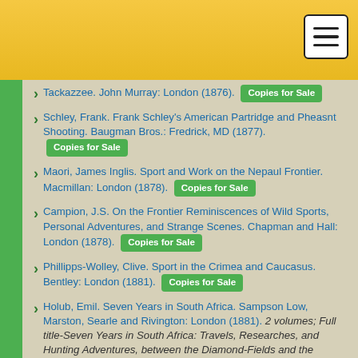Tackazzee. John Murray: London (1876). [Copies for Sale]
Schley, Frank. Frank Schley's American Partridge and Pheasnt Shooting. Baugman Bros.: Fredrick, MD (1877). [Copies for Sale]
Maori, James Inglis. Sport and Work on the Nepaul Frontier. Macmillan: London (1878). [Copies for Sale]
Campion, J.S. On the Frontier Reminiscences of Wild Sports, Personal Adventures, and Strange Scenes. Chapman and Hall: London (1878). [Copies for Sale]
Phillipps-Wolley, Clive. Sport in the Crimea and Caucasus. Bentley: London (1881). [Copies for Sale]
Holub, Emil. Seven Years in South Africa. Sampson Low, Marston, Searle and Rivington: London (1881). 2 volumes; Full title-Seven Years in South Africa: Travels, Researches, and Hunting Adventures, between the Diamond-Fields and the Zambesi; Translated by Ellen Frewer [Copies for Sale]